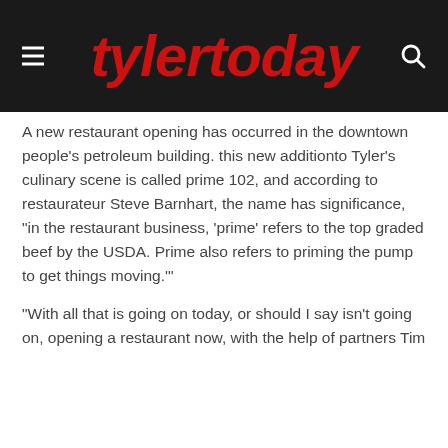tylertoday
A new restaurant opening has occurred in the downtown people's petroleum building. this new additionto Tyler's culinary scene is called prime 102, and according to restaurateur Steve Barnhart, the name has significance, "in the restaurant business, 'prime' refers to the top graded beef by the USDA. Prime also refers to priming the pump to get things moving."
"With all that is going on today, or should I say isn't going on, opening a restaurant now, with the help of partners Tim